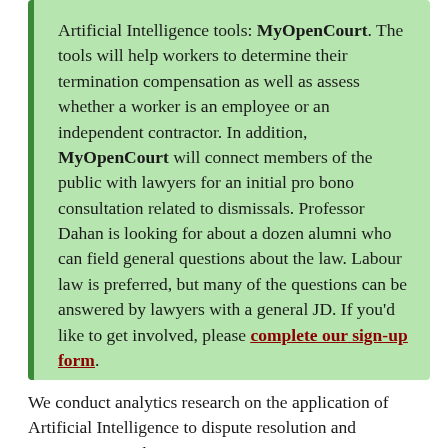Artificial Intelligence tools: MyOpenCourt. The tools will help workers to determine their termination compensation as well as assess whether a worker is an employee or an independent contractor. In addition, MyOpenCourt will connect members of the public with lawyers for an initial pro bono consultation related to dismissals. Professor Dahan is looking for about a dozen alumni who can field general questions about the law. Labour law is preferred, but many of the questions can be answered by lawyers with a general JD. If you'd like to get involved, please complete our sign-up form.
We conduct analytics research on the application of Artificial Intelligence to dispute resolution and negotiation. We have